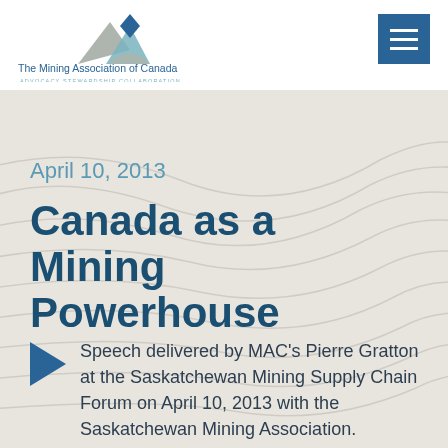[Figure (logo): The Mining Association of Canada logo with diamond/mountain icon and tagline: ADVOCACY STEWARDSHIP COLLABORATION]
[Figure (other): Blue hamburger menu button (three horizontal white lines on blue background)]
April 10, 2013
Canada as a Mining Powerhouse
Speech delivered by MAC's Pierre Gratton at the Saskatchewan Mining Supply Chain Forum on April 10, 2013 with the Saskatchewan Mining Association.